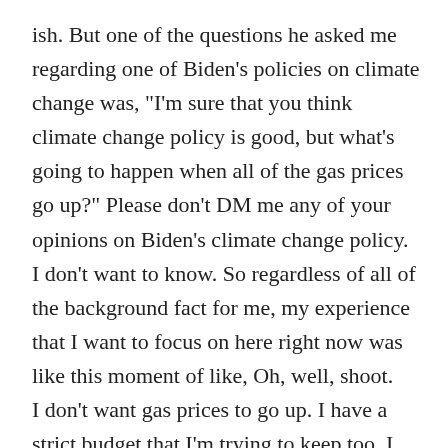ish. But one of the questions he asked me regarding one of Biden's policies on climate change was, "I'm sure that you think climate change policy is good, but what's going to happen when all of the gas prices go up?" Please don't DM me any of your opinions on Biden's climate change policy. I don't want to know. So regardless of all of the background fact for me, my experience that I want to focus on here right now was like this moment of like, Oh, well, shoot.
I don't want gas prices to go up. I have a strict budget that I'm trying to keep too. I don't want to have to readjust. So of course I don't want gas prices to go up. But then I thought about it a little bit further. And I was like, Oh wait, of course! I have always said, I am willing to sacrifice something in order to preserve the earth and contribute to sustainability. And I believe in